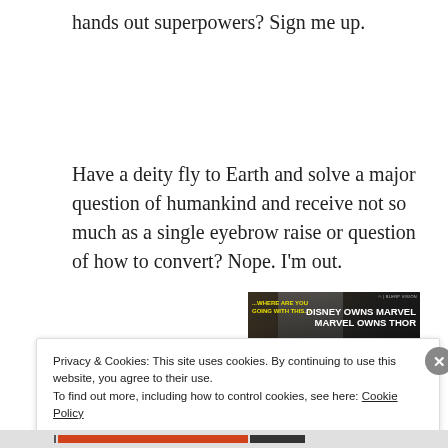hands out superpowers? Sign me up.
Have a deity fly to Earth and solve a major question of humankind and receive not so much as a single eyebrow raise or question of how to convert? Nope. I'm out.
[Figure (photo): Meme image featuring Thor (Marvel character) with text: '...WHERE ARE YOU GOING WITH THIS..?' on left in yellow, and 'DISNEY OWNS MARVEL MARVEL OWNS THOR' on right in white bold text. Watermark visible in corner.]
Privacy & Cookies: This site uses cookies. By continuing to use this website, you agree to their use.
To find out more, including how to control cookies, see here: Cookie Policy
Close and accept